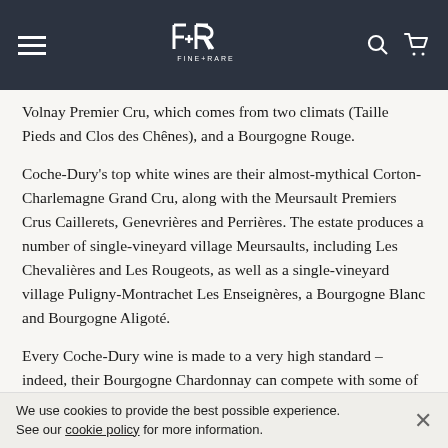Fine+Rare — navigation header with logo, hamburger menu, search and cart icons
Volnay Premier Cru, which comes from two climats (Taille Pieds and Clos des Chênes), and a Bourgogne Rouge.
Coche-Dury's top white wines are their almost-mythical Corton-Charlemagne Grand Cru, along with the Meursault Premiers Crus Caillerets, Genevrières and Perrières. The estate produces a number of single-vineyard village Meursaults, including Les Chevalières and Les Rougeots, as well as a single-vineyard village Puligny-Montrachet Les Enseignères, a Bourgogne Blanc and Bourgogne Aligoté.
Every Coche-Dury wine is made to a very high standard – indeed, their Bourgogne Chardonnay can compete with some of the best Premiers Crus from other producers.
Winemaking at the domaine remains traditional with long-
We use cookies to provide the best possible experience. See our cookie policy for more information.